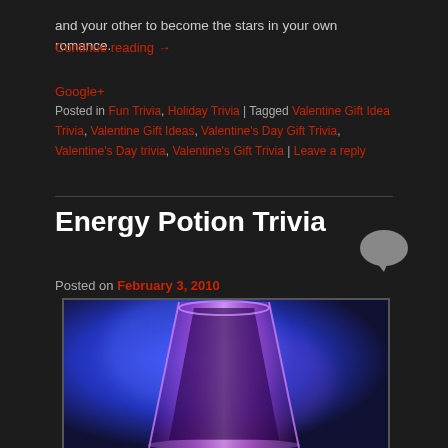and your other to become the stars in your own romance.
Continue reading →
Google+
Posted in Fun Trivia, Holiday Trivia | Tagged Valentine Gift Idea Trivia, Valentine Gift Ideas, Valentine's Day Gift Trivia, Valentine's Day trivia, Valentine's Gift Trivia | Leave a reply
Energy Potion Trivia
Posted on February 3, 2010
[Figure (photo): A glass shot glass or energy drink glass photographed against a blue and purple lit background, showing a clear/pink tinted conical glass with dramatic lighting.]